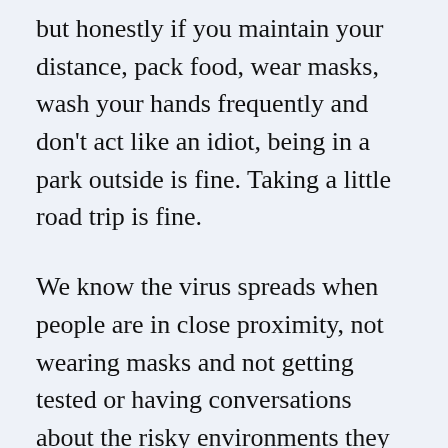but honestly if you maintain your distance, pack food, wear masks, wash your hands frequently and don’t act like an idiot, being in a park outside is fine. Taking a little road trip is fine.
We know the virus spreads when people are in close proximity, not wearing masks and not getting tested or having conversations about the risky environments they may have been in (i.e. disclosing how often they leave the house, do they go